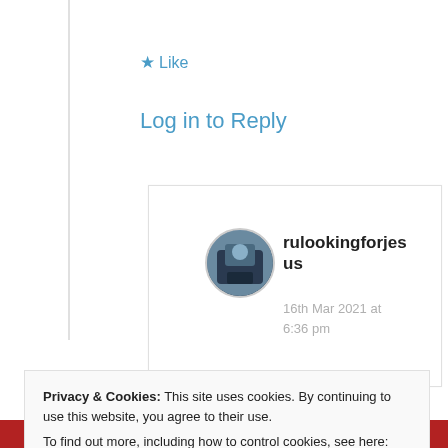★ Like
Log in to Reply
rulookingforjesus
16th Mar 2021 at 6:36 pm
Privacy & Cookies: This site uses cookies. By continuing to use this website, you agree to their use.
To find out more, including how to control cookies, see here: Cookie Policy
Close and accept
The best stories on the web – ours, and everyone else's.